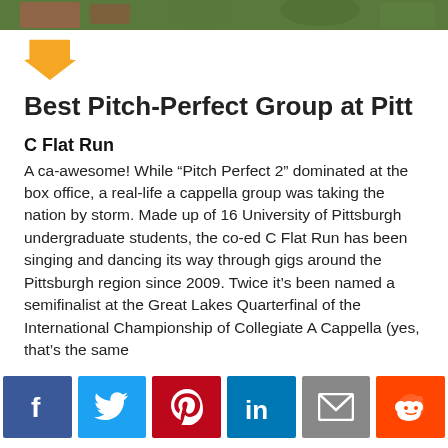[Figure (photo): Top strip showing a group photo outdoors with greenery and people]
[Figure (illustration): Orange downward-pointing arrow]
Best Pitch-Perfect Group at Pitt
C Flat Run
A ca-awesome! While “Pitch Perfect 2” dominated at the box office, a real-life a cappella group was taking the nation by storm. Made up of 16 University of Pittsburgh undergraduate students, the co-ed C Flat Run has been singing and dancing its way through gigs around the Pittsburgh region since 2009. Twice it’s been named a semifinalist at the Great Lakes Quarterfinal of the International Championship of Collegiate A Cappella (yes, that’s the same
[Figure (infographic): Social media share buttons: Facebook, Twitter, Pinterest, LinkedIn, Email, Reddit]